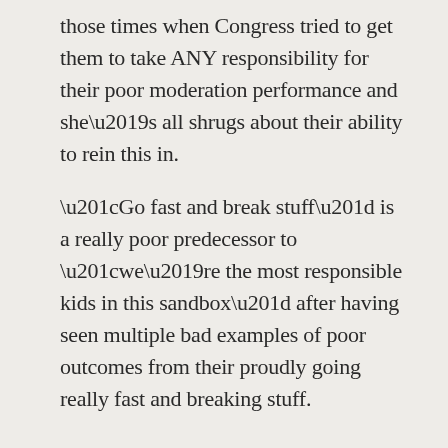those times when Congress tried to get them to take ANY responsibility for their poor moderation performance and she’s all shrugs about their ability to rein this in.
“Go fast and break stuff” is a really poor predecessor to “we’re the most responsible kids in this sandbox” after having seen multiple bad examples of poor outcomes from their proudly going really fast and breaking stuff.